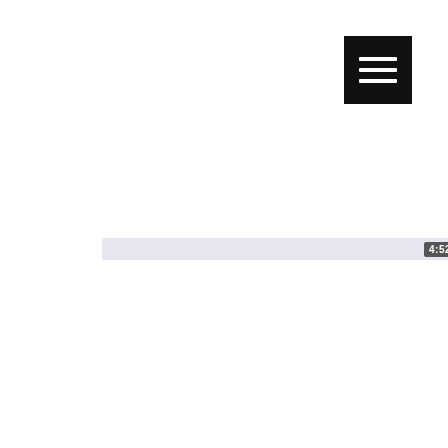[Figure (screenshot): Black menu/hamburger button with three white horizontal lines in top-right corner]
[Figure (screenshot): Light purple/grey progress bar with time badge showing 4:52]
[Figure (screenshot): Video thumbnail card showing Zapier Integration with play button and time 10:05. Contains Zapier logo text in orange-red italic with asterisk/snowflake icon, Integration text in bold black, and circular arrows icon on the right.]